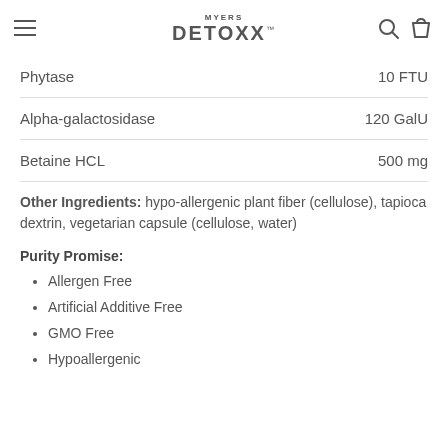Myers Detox
| Ingredient | Amount |
| --- | --- |
| Phytase | 10 FTU |
| Alpha-galactosidase | 120 GalU |
| Betaine HCL | 500 mg |
Other Ingredients: hypo-allergenic plant fiber (cellulose), tapioca dextrin, vegetarian capsule (cellulose, water)
Purity Promise:
Allergen Free
Artificial Additive Free
GMO Free
Hypoallergenic